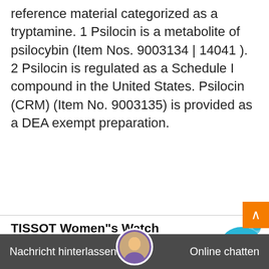reference material categorized as a tryptamine. 1 Psilocin is a metabolite of psilocybin (Item Nos. 9003134 | 14041 ). 2 Psilocin is regulated as a Schedule I compound in the United States. Psilocin (CRM) (Item No. 9003135) is provided as a DEA exempt preparation.
TISSOT Women"s Watch Collection | TISSOT&#174; ...
£645.00 . Tissot Heritage Memphis Lady . Quartz . £315.00 . Tissot Carson Premium Lady Moonphase . Quartz EOL . £320.00 . Out of stock . Tissot Bridgeport Mechanical Skeleton . Mechanical power reserve of 46 hours . £1,015.00 . Tissot PR 100 Sport Chic . Quartz ...Personalized Bow With Arrows Quiver at Extra Charg 2022-1-9 · · H A V E · A N · Q E S T I O N S ? · ·
Nachricht hinterlassen . We Online chatten your full price for bad quality . Remember, that we do"t